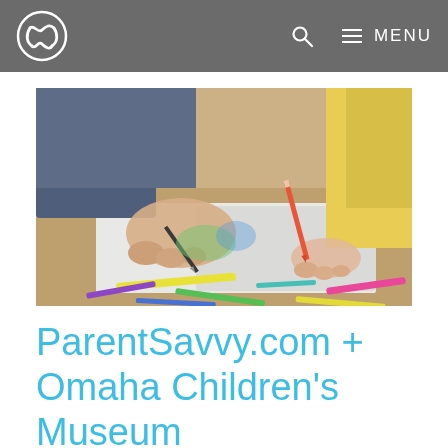ParentSavvy.com — Navigation bar with logo, search, and menu
[Figure (photo): Close-up photo of two people (an adult and a child) drawing/coloring with pencils and markers on white paper. Multiple colorful pencils and markers are scattered on a wooden surface. The adult holds a dark pencil, the child holds an orange-red pencil. A yellow sleeve is visible at the right.]
ParentSavvy.com + Omaha Children's Museum